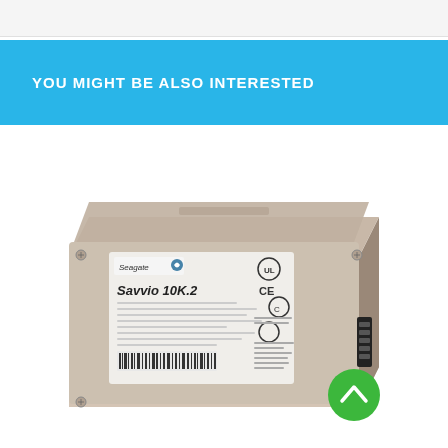YOU MIGHT BE ALSO INTERESTED
[Figure (photo): Seagate Savvio 10K.2 2.5-inch SAS hard disk drive, silver/metallic casing with white label showing model name and compliance markings (CE, UL). A green circular scroll-to-top button is visible in the lower right corner.]